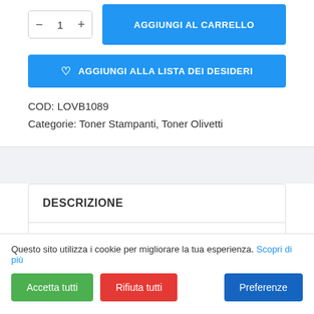[Figure (screenshot): Quantity selector with minus and plus buttons showing value 1, and blue 'AGGIUNGI AL CARRELLO' button]
[Figure (screenshot): Blue 'AGGIUNGI ALLA LISTA DEI DESIDERI' wishlist button with heart icon]
COD: LOVB1089
Categorie: Toner Stampanti, Toner Olivetti
DESCRIZIONE
Questo sito utilizza i cookie per migliorare la tua esperienza. Scopri di più
[Figure (screenshot): Cookie consent buttons: green Accetta tutti, red Rifiuta tutti, blue Preferenze]